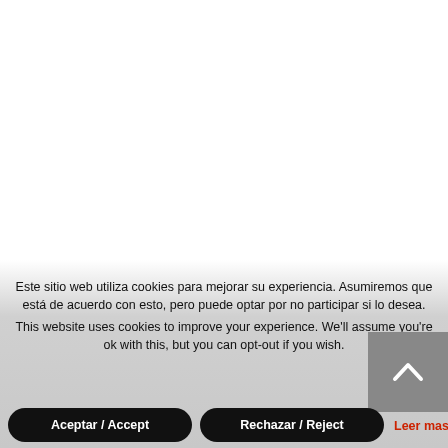Este sitio web utiliza cookies para mejorar su experiencia. Asumiremos que está de acuerdo con esto, pero puede optar por no participar si lo desea.
This website uses cookies to improve your experience. We'll assume you're ok with this, but you can opt-out if you wish.
Aceptar / Accept
Rechazar / Reject
Leer mas / Read More